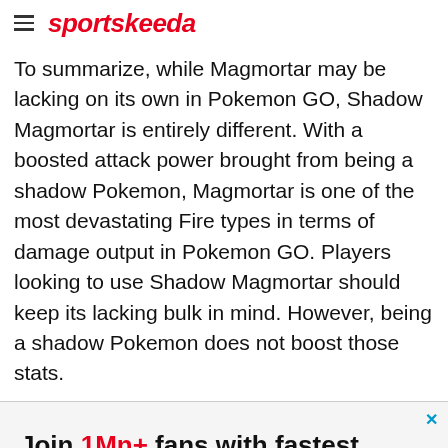sportskeeda
To summarize, while Magmortar may be lacking on its own in Pokemon GO, Shadow Magmortar is entirely different. With a boosted attack power brought from being a shadow Pokemon, Magmortar is one of the most devastating Fire types in terms of damage output in Pokemon GO. Players looking to use Shadow Magmortar should keep its lacking bulk in mind. However, being a shadow Pokemon does not boost those stats.
[Figure (infographic): Sportskeeda advertisement banner: 'Join 1Mn+ fans with fastest live scores, news & commentary' with SK logo and travel advertisement at bottom (DISCOVER AMAZING TRAVEL SIDESTAGE.COM)]